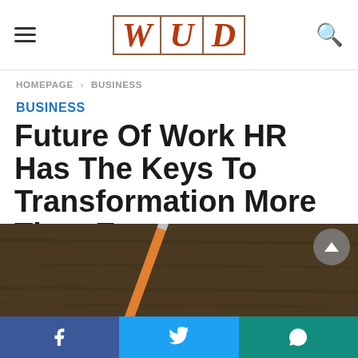WUD — navigation header with hamburger menu, WUD logo, and search icon
HOMEPAGE > BUSINESS
BUSINESS
Future Of Work HR Has The Keys To Transformation More Than Ever
[Figure (photo): Dark brown wooden desk surface with a pencil lying on it — partial article hero image]
Social share bar: Facebook, Twitter, WhatsApp